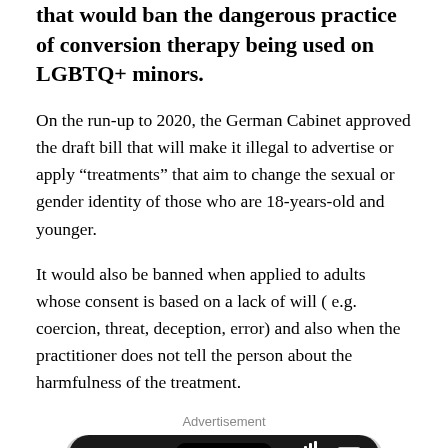that would ban the dangerous practice of conversion therapy being used on LGBTQ+ minors.
On the run-up to 2020, the German Cabinet approved the draft bill that will make it illegal to advertise or apply “treatments” that aim to change the sexual or gender identity of those who are 18-years-old and younger.
It would also be banned when applied to adults whose consent is based on a lack of will ( e.g. coercion, threat, deception, error) and also when the practitioner does not tell the person about the harmfulness of the treatment.
Advertisement
[Figure (photo): A smartphone screen showing 6:30 time, 4G signal, battery indicator, and a camera notch — the top portion of a mobile phone.]